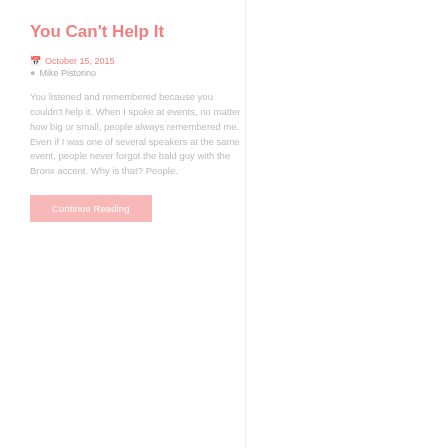You Can't Help It
October 15, 2015
Mike Pistorino
You listened and remembered because you couldn't help it. When I spoke at events, no matter how big or small, people always remembered me. Even if I was one of several speakers at the same event, people never forgot the bald guy with the Bronx accent. Why is that? People.
Continue Reading